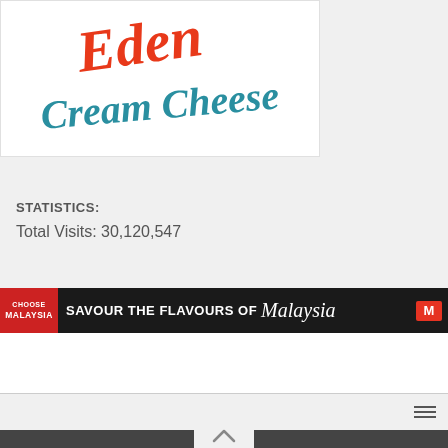[Figure (logo): Eden Cream Cheese logo — 'Eden' in red script lettering above 'Cream Cheese' in teal/blue script lettering on white background]
STATISTICS:
Total Visits: 30,120,547
[Figure (infographic): Banner advertisement: 'CHOOSE MALAYSIA' red badge on left, text 'SAVOUR THE FLAVOURS OF Malaysia' on dark background with food imagery and MATRADE logo on right]